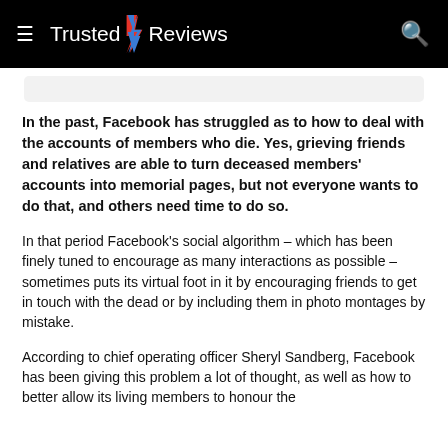Trusted Reviews
In the past, Facebook has struggled as to how to deal with the accounts of members who die. Yes, grieving friends and relatives are able to turn deceased members' accounts into memorial pages, but not everyone wants to do that, and others need time to do so.
In that period Facebook's social algorithm – which has been finely tuned to encourage as many interactions as possible – sometimes puts its virtual foot in it by encouraging friends to get in touch with the dead or by including them in photo montages by mistake.
According to chief operating officer Sheryl Sandberg, Facebook has been giving this problem a lot of thought, as well as how to better allow its living members to honour the